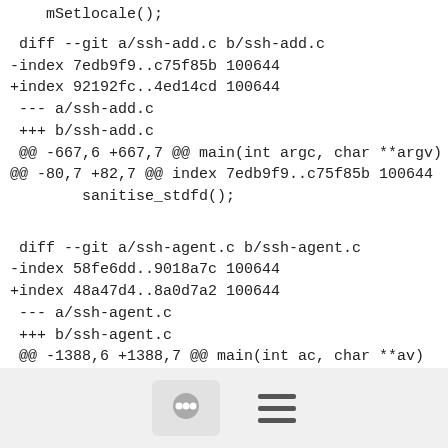mSetlocale();
diff --git a/ssh-add.c b/ssh-add.c
-index 7edb9f9..c75f85b 100644
+index 92192fc..4ed14cd 100644
 --- a/ssh-add.c
 +++ b/ssh-add.c
 @@ -667,6 +667,7 @@ main(int argc, char **argv)
@@ -80,7 +82,7 @@ index 7edb9f9..c75f85b 100644
        sanitise_stdfd();
diff --git a/ssh-agent.c b/ssh-agent.c
-index 58fe6dd..9018a7c 100644
+index 48a47d4..8a0d7a2 100644
 --- a/ssh-agent.c
 +++ b/ssh-agent.c
 @@ -1388,6 +1388,7 @@ main(int ac, char **av)
@@ -92,7 +94,7 @@ index 58fe6dd..9018a7c 100644
        sanitise_stdfd();
diff --git a/...